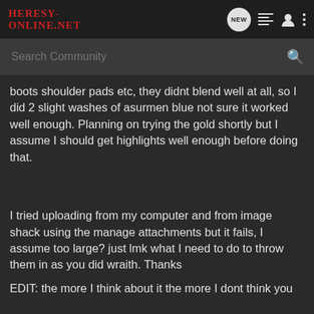Heresy-Online.net
boots shoulder pads etc, they didnt blend well at all, so I did 2 slight washes of asurmen blue not sure it worked well enough. Planning on trying the gold shortly but I assume I should get highlights well enough before doing that.
I tried uploading from my computer and from image shack using the manage attachments but it fails, I assume too large? just lmk what I need to do to throw them in as you did wraith. Thanks
EDIT: the more I think about it the more I dont think you